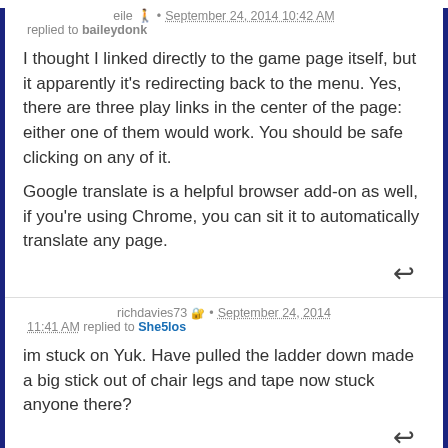eile · September 24, 2014 10:42 AM
replied to baileydonk
I thought I linked directly to the game page itself, but it apparently it's redirecting back to the menu. Yes, there are three play links in the center of the page: either one of them would work. You should be safe clicking on any of it.
Google translate is a helpful browser add-on as well, if you're using Chrome, you can sit it to automatically translate any page.
richdavies73 · September 24, 2014 11:41 AM replied to She5los
im stuck on Yuk. Have pulled the ladder down made a big stick out of chair legs and tape now stuck anyone there?